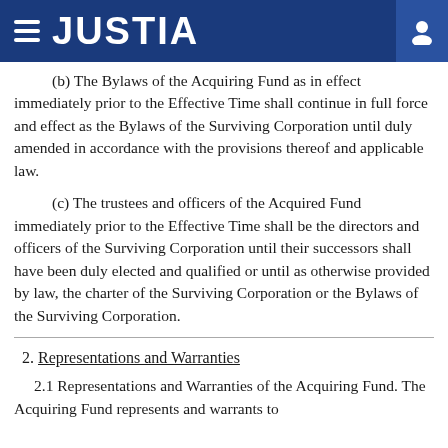JUSTIA
(b) The Bylaws of the Acquiring Fund as in effect immediately prior to the Effective Time shall continue in full force and effect as the Bylaws of the Surviving Corporation until duly amended in accordance with the provisions thereof and applicable law.
(c) The trustees and officers of the Acquired Fund immediately prior to the Effective Time shall be the directors and officers of the Surviving Corporation until their successors shall have been duly elected and qualified or until as otherwise provided by law, the charter of the Surviving Corporation or the Bylaws of the Surviving Corporation.
2. Representations and Warranties
2.1 Representations and Warranties of the Acquiring Fund. The Acquiring Fund represents and warrants to